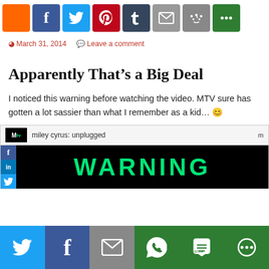[Figure (infographic): Top social share button bar with RSS (orange), Facebook (blue), Twitter (light blue), Pinterest (red), Tumblr (dark blue), Email (gray), Reddit (gray), More (green) icon buttons]
March 31, 2014   Leave a comment
Apparently That’s a Big Deal
I noticed this warning before watching the video. MTV sure has gotten a lot sassier than what I remember as a kid… 😊
[Figure (screenshot): MTV video player screenshot showing 'miley cyrus: unplugged' title bar and a WARNING text in green on black background, with Facebook, LinkedIn, Twitter sidebar icons on left]
[Figure (infographic): Bottom social share bar with Twitter (blue), Facebook (dark blue), Email (gray), WhatsApp (green), SMS (green), More (green) buttons]